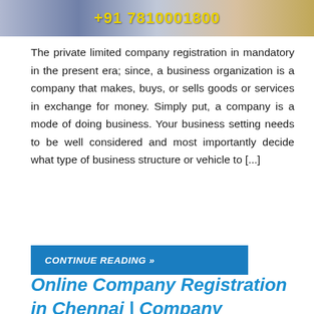[Figure (photo): Banner image with cityscape/night scene background showing phone number +91 7810001800 in yellow text]
The private limited company registration in mandatory in the present era; since, a business organization is a company that makes, buys, or sells goods or services in exchange for money. Simply put, a company is a mode of doing business. Your business setting needs to be well considered and most importantly decide what type of business structure or vehicle to [...]
CONTINUE READING »
Online Company Registration in Chennai | Company Incorporation